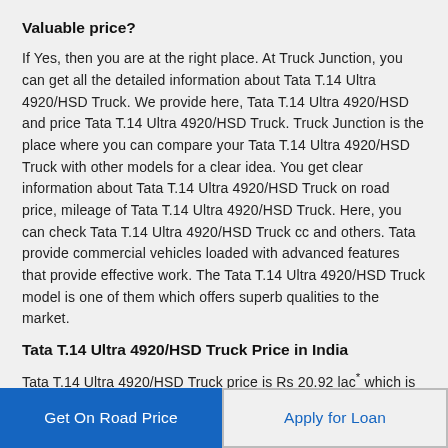Valuable price?
If Yes, then you are at the right place. At Truck Junction, you can get all the detailed information about Tata T.14 Ultra 4920/HSD Truck. We provide here, Tata T.14 Ultra 4920/HSD and price Tata T.14 Ultra 4920/HSD Truck. Truck Junction is the place where you can compare your Tata T.14 Ultra 4920/HSD Truck with other models for a clear idea. You get clear information about Tata T.14 Ultra 4920/HSD Truck on road price, mileage of Tata T.14 Ultra 4920/HSD Truck. Here, you can check Tata T.14 Ultra 4920/HSD Truck cc and others. Tata provide commercial vehicles loaded with advanced features that provide effective work. The Tata T.14 Ultra 4920/HSD Truck model is one of them which offers superb qualities to the market.
Tata T.14 Ultra 4920/HSD Truck Price in India
Tata T.14 Ultra 4920/HSD Truck price is Rs 20.92 lac* which is
Get On Road Price
Apply for Loan